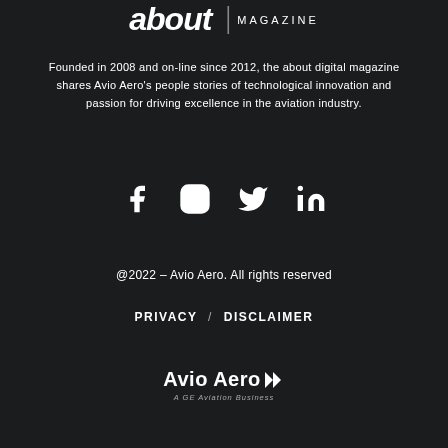[Figure (logo): about MAGAZINE logo — stylized bold italic 'about' text with a vertical divider and 'MAGAZINE' in spaced caps]
Founded in 2008 and on-line since 2012, the about digital magazine shares Avio Aero's people stories of technological innovation and passion for driving excellence in the aviation industry.
[Figure (other): Social media icons: Facebook, Instagram, Twitter, LinkedIn — white icons on dark background]
@2022 – Avio Aero. All rights reserved
PRIVACY / DISCLAIMER
[Figure (logo): Avio Aero logo with double chevron symbol and subtitle 'A GE Aviation Business']